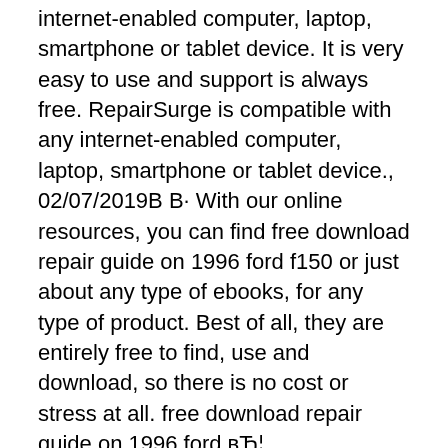internet-enabled computer, laptop, smartphone or tablet device. It is very easy to use and support is always free. RepairSurge is compatible with any internet-enabled computer, laptop, smartphone or tablet device., 02/07/2019В В· With our online resources, you can find free download repair guide on 1996 ford f150 or just about any type of ebooks, for any type of product. Best of all, they are entirely free to find, use and download, so there is no cost or stress at all. free download repair guide on 1996 ford вЂ¦.
HOW TO REMOVE THE WATER PUMP ON A 1992 FORD F-150 FREE
1992 Ford Truck Van SUV Repair Manuals. On this page you can free download service/ repair/ owner's manuals and wiring diagrams for Ford